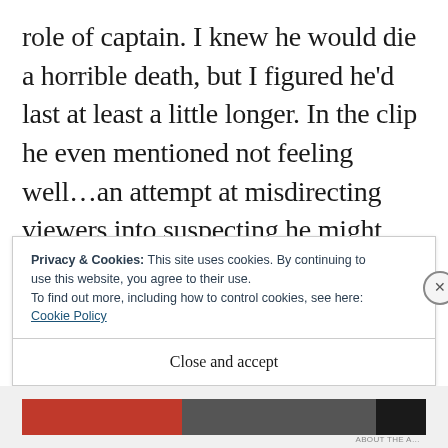role of captain. I knew he would die a horrible death, but I figured he'd last at least a little longer. In the clip he even mentioned not feeling well…an attempt at misdirecting viewers into suspecting he might have had a run-in with a face hugger and we'd get to see an alien pop out of his chest at some point.
Privacy & Cookies: This site uses cookies. By continuing to use this website, you agree to their use.
To find out more, including how to control cookies, see here: Cookie Policy
Close and accept